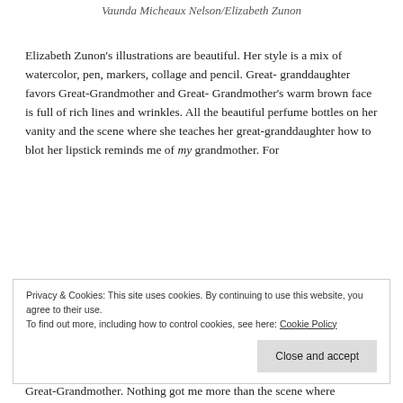Vaunda Micheaux Nelson/Elizabeth Zunon
Elizabeth Zunon's illustrations are beautiful. Her style is a mix of watercolor, pen, markers, collage and pencil. Great-granddaughter favors Great-Grandmother and Great-Grandmother's warm brown face is full of rich lines and wrinkles. All the beautiful perfume bottles on her vanity and the scene where she teaches her great-granddaughter how to blot her lipstick reminds me of my grandmother. For
Privacy & Cookies: This site uses cookies. By continuing to use this website, you agree to their use.
To find out more, including how to control cookies, see here: Cookie Policy
Close and accept
Great-Grandmother. Nothing got me more than the scene where